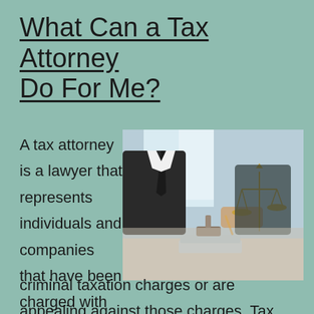What Can a Tax Attorney Do For Me?
[Figure (photo): Two people at a desk in a legal/professional setting, with a judge's gavel, scales of justice, and documents visible. One person appears to be in a suit with a tie.]
A tax attorney is a lawyer that represents individuals and companies that have been charged with criminal taxation charges or are appealing against those charges. Tax law or tax fraud is a